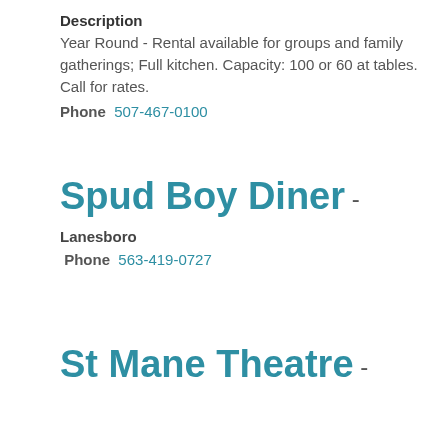Description
Year Round - Rental available for groups and family gatherings; Full kitchen. Capacity: 100 or 60 at tables. Call for rates.
Phone  507-467-0100
Spud Boy Diner -
Lanesboro
Phone  563-419-0727
St Mane Theatre -